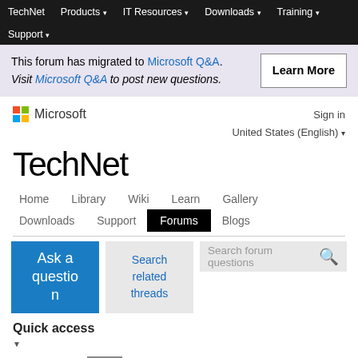TechNet   Products ▾   IT Resources ▾   Downloads ▾   Training ▾   Support ▾
This forum has migrated to Microsoft Q&A. Visit Microsoft Q&A to post new questions.
Learn More
[Figure (logo): Microsoft logo with colored squares grid and Microsoft wordmark]
Sign in
United States (English) ▾
TechNet
Home   Library   Wiki   Learn   Gallery   Downloads   Support   Forums   Blogs
Ask a question
Search related threads
Search forum questions
Quick access
Answered
Scan to email